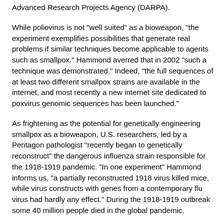Advanced Research Projects Agency (DARPA).
While poliovirus is not "well suited" as a bioweapon, "the experiment exemplifies possibilities that generate real problems if similar techniques become applicable to agents such as smallpox." Hammond averred that in 2002 "such a technique was demonstrated." Indeed, "the full sequences of at least two different smallpox strains are available in the internet, and most recently a new internet site dedicated to poxvirus genomic sequences has been launched."
As frightening as the potential for genetically engineering smallpox as a bioweapon, U.S. researchers, led by a Pentagon pathologist "recently began to genetically reconstruct" the dangerous influenza strain responsible for the 1918-1919 pandemic. "In one experiment" Hammond informs us, "a partially reconstructed 1918 virus killed mice, while virus constructs with genes from a contemporary flu virus had hardly any effect." During the 1918-1919 outbreak some 40 million people died in the global pandemic.
Hammond reports that a sample of lung tissue from a 21-